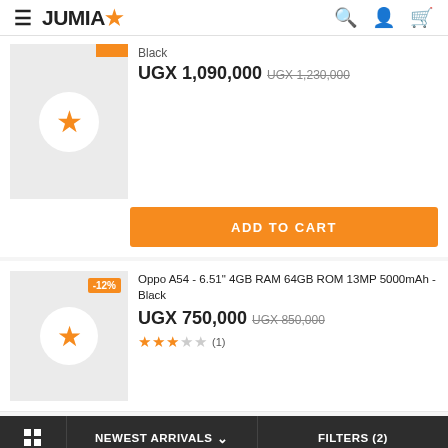JUMIA
Black
UGX 1,090,000  UGX 1,230,000
ADD TO CART
Oppo A54 - 6.51" 4GB RAM 64GB ROM 13MP 5000mAh - Black
UGX 750,000  UGX 850,000
★★★☆☆ (1)
NEWEST ARRIVALS  FILTERS (2)
This website uses cookies. For further information on how we use cookies you can read our Privacy and Cookie notice